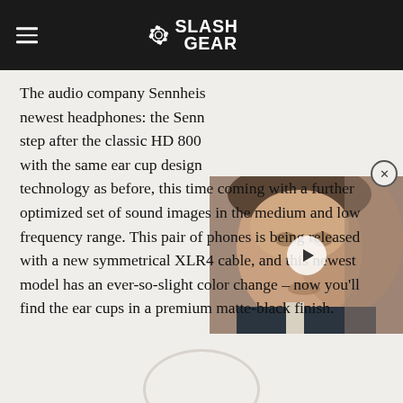SlashGear
[Figure (screenshot): Video thumbnail overlay showing a man's face with a white circular play button in the center, with a close (X) button in the top-right corner]
The audio company Sennheiser has just announced their newest headphones: the Sennheiser [HD 820], a natural step after the classic HD 800 [S], coming to the table with the same ear cup design technology as before, this time coming with a further optimized set of sound images in the medium and low frequency range. This pair of phones is being released with a new symmetrical XLR4 cable, and this newest model has an ever-so-slight color change – now you'll find the ear cups in a premium matte-black finish.